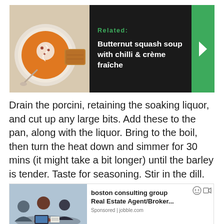[Figure (photo): Related article box with a photo of butternut squash soup in a white bowl with bread on the side. Dark background panel with green 'Related:' label, bold white text 'Butternut squash soup with chilli & crème fraîche', and a green arrow button on the right.]
Drain the porcini, retaining the soaking liquor, and cut up any large bits. Add these to the pan, along with the liquor. Bring to the boil, then turn the heat down and simmer for 30 mins (it might take a bit longer) until the barley is tender. Taste for seasoning. Stir in the dill. Serve with a dollop of soured cream on top and crusty bread on the side.
[Figure (photo): Advertisement overlay showing a group of business people in a meeting, with text 'boston consulting group' and 'Real Estate Agent/Broker...' and 'Sponsored | jobble.com']